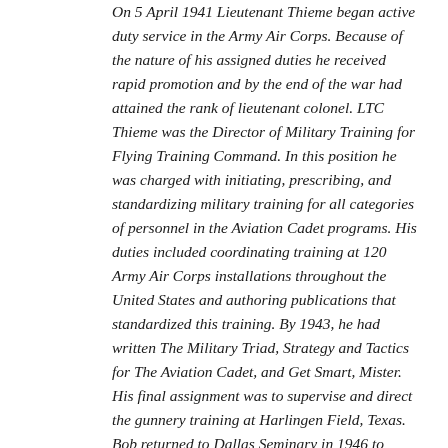On 5 April 1941 Lieutenant Thieme began active duty service in the Army Air Corps. Because of the nature of his assigned duties he received rapid promotion and by the end of the war had attained the rank of lieutenant colonel. LTC Thieme was the Director of Military Training for Flying Training Command. In this position he was charged with initiating, prescribing, and standardizing military training for all categories of personnel in the Aviation Cadet programs. His duties included coordinating training at 120 Army Air Corps installations throughout the United States and authoring publications that standardized this training. By 1943, he had written The Military Triad, Strategy and Tactics for The Aviation Cadet, and Get Smart, Mister. His final assignment was to supervise and direct the gunnery training at Harlingen Field, Texas. Bob returned to Dallas Seminary in 1946 to resume preparation for the ministry. The academic training he received in Greek, Hebrew, theology, history, and textual